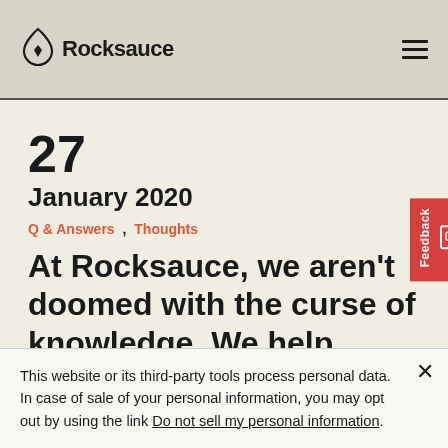Rocksauce
27
January 2020
Q & Answers ,  Thoughts
At Rocksauce, we aren't doomed with the curse of knowledge. We help finding intuitive solutions to clients problems no
This website or its third-party tools process personal data. In case of sale of your personal information, you may opt out by using the link Do not sell my personal information.